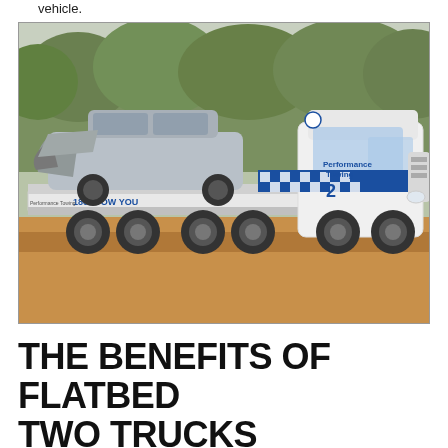vehicle.
[Figure (photo): A white Performance Towing flatbed tow truck (numbered 2) with blue checkered graphic livery, carrying a heavily damaged silver SUV/pickup truck on its flatbed. The truck is parked on a dirt road surrounded by eucalyptus trees. The truck reads '1800 TOW YOU' and 'Performance Towing' on the side, with '26 Powis St, Blendalough' on the door.]
THE BENEFITS OF FLATBED TWO TRUCKS